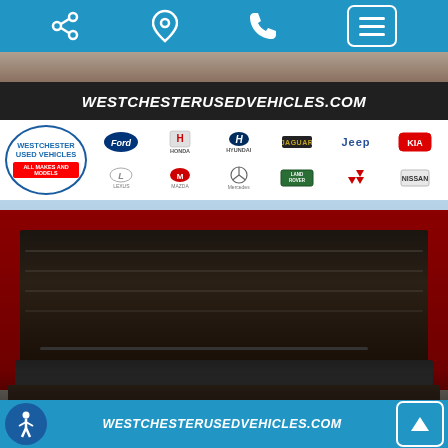[Figure (screenshot): Mobile website screenshot for Westchester Used Vehicles showing navigation bar with share, location, phone, and menu icons at the top in blue, followed by a dealer photo gallery page. The main content shows a truck bed (open tailgate) photo with the Westchester Used Vehicles logo and automaker brand logos (Ford, Honda, Hyundai, Jaguar, Jeep, Kia, Lexus, Mazda, Mercedes, Land Rover, Mitsubishi, Nissan). A black banner reads WESTCHESTERUSEDVEHICLES.COM at the top and bottom of the image area. Bottom navigation bar in blue with accessibility button, website URL text, and an up-arrow scroll button.]